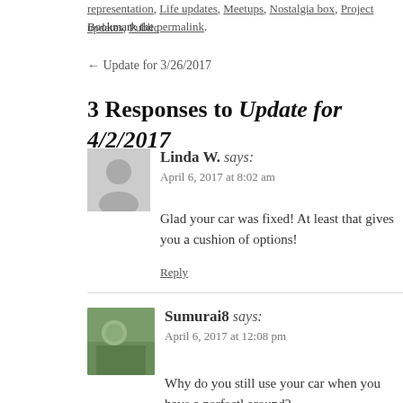representation, Life updates, Meetups, Nostalgia box, Project updates, Public... Bookmark the permalink.
← Update for 3/26/2017
3 Responses to Update for 4/2/2017
Linda W. says:
April 6, 2017 at 8:02 am
Glad your car was fixed! At least that gives you a cushion of options!
Reply
Sumurai8 says:
April 6, 2017 at 12:08 pm
Why do you still use your car when you have a perfect... around?